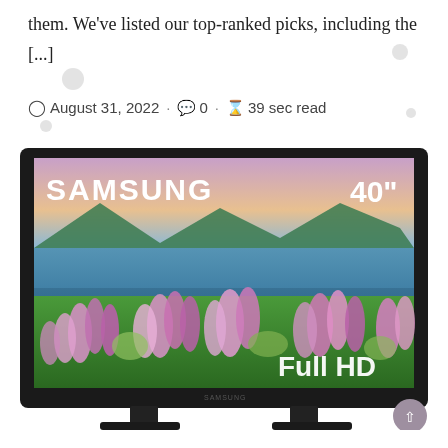them. We've listed our top-ranked picks, including the [...]
August 31, 2022 · 0 · 39 sec read
[Figure (photo): A Samsung 40-inch Full HD television with a nature scene (lupine flowers and mountain lake landscape) displayed on screen, showing the Samsung logo and '40"' text on the screen overlay, with the 'Full HD' label in the lower right of the screen.]